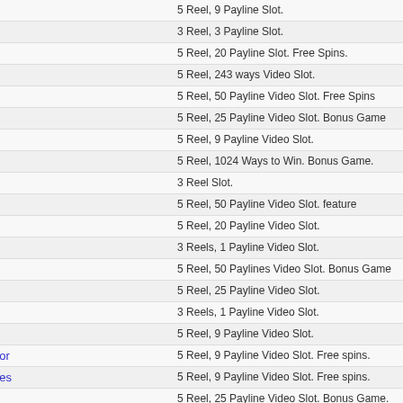| Game Name | Description |
| --- | --- |
| Samurai 77 | 5 Reel, 9 Payline Slot. |
| Sand Storm | 3 Reel, 3 Payline Slot. |
| Santa Paws | 5 Reel, 20 Payline Slot. Free Spins. |
| Santas Wild Ride | 5 Reel, 243 ways Video Slot. |
| Scrooge | 5 Reel, 50 Payline Video Slot. Free Spins |
| Scoop the Cash | 5 Reel, 25 Payline Video Slot. Bonus Game |
| Secret Admirer | 5 Reel, 9 Payline Video Slot. |
| Secret Santa | 5 Reel, 1024 Ways to Win. Bonus Game. |
| Seven Oceans | 3 Reel Slot. |
| Silver Fang | 5 Reel, 50 Payline Video Slot. feature |
| Sir Winsalot | 5 Reel, 20 Payline Video Slot. |
| Sizzling Scorpions | 3 Reels, 1 Payline Video Slot. |
| Shoot | 5 Reel, 50 Paylines Video Slot. Bonus Game |
| Shiver Me Feathers | 5 Reel, 25 Payline Video Slot. |
| Ski Bunny | 3 Reels, 1 Payline Video Slot. |
| Skull Duggery | 5 Reel, 9 Payline Video Slot. |
| Sneak a Peek Doctor Doctor | 5 Reel, 9 Payline Video Slot. Free spins. |
| Sneak a Peek Hunky Heroes | 5 Reel, 9 Payline Video Slot. Free spins. |
| Slide o Wild Crocodopolis | 5 Reel, 25 Payline Video Slot. Bonus Game. |